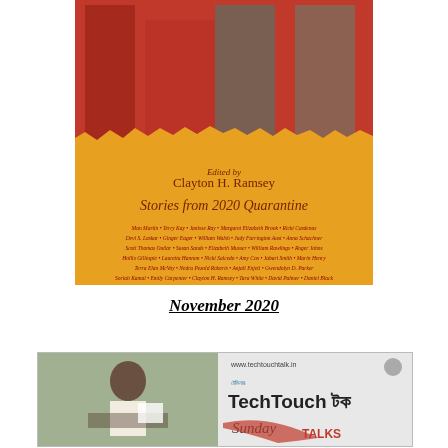[Figure (illustration): Book cover: 'Stories from 2020 Quarantine' edited by Clayton H. Ramsey, with medieval painting at top and orange lower section listing contributor names]
November 2020
[Figure (photo): TechTouch টক Sunday Talks promotional image with a man reading papers and www.techtouchtalk.in branding]